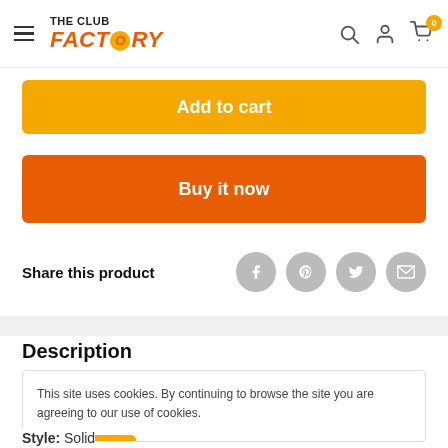THE CLUB FACTORY
Add to cart
Buy it now
Share this product
Description
This site uses cookies. By continuing to browse the site you are agreeing to our use of cookies.
Accept
Style: Solid